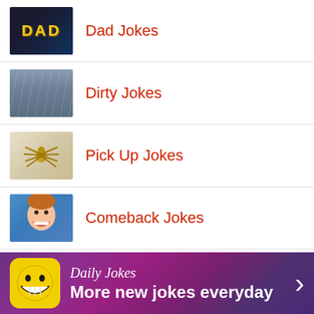Dad Jokes
Dirty Jokes
Pick Up Jokes
Comeback Jokes
Momma Jokes
[Figure (screenshot): App banner ad: Daily Jokes - More new jokes everyday]
Daily Jokes
More new jokes everyday